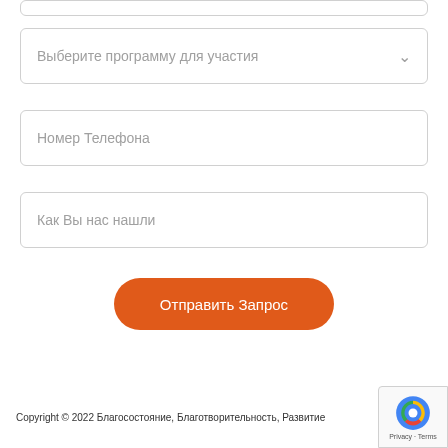Выберите программу для участия
Номер Телефона
Как Вы нас нашли
Отправить Запрос
Copyright © 2022 Благосостояние, Благотворительность, Развитие